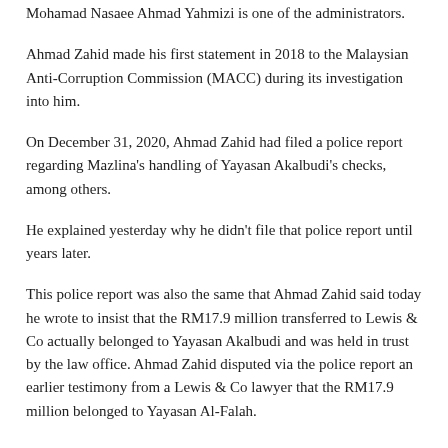Mohamad Nasaee Ahmad Yahmizi is one of the administrators.
Ahmad Zahid made his first statement in 2018 to the Malaysian Anti-Corruption Commission (MACC) during its investigation into him.
On December 31, 2020, Ahmad Zahid had filed a police report regarding Mazlina's handling of Yayasan Akalbudi's checks, among others.
He explained yesterday why he didn't file that police report until years later.
This police report was also the same that Ahmad Zahid said today he wrote to insist that the RM17.9 million transferred to Lewis & Co actually belonged to Yayasan Akalbudi and was held in trust by the law office. Ahmad Zahid disputed via the police report an earlier testimony from a Lewis & Co lawyer that the RM17.9 million belonged to Yayasan Al-Falah.